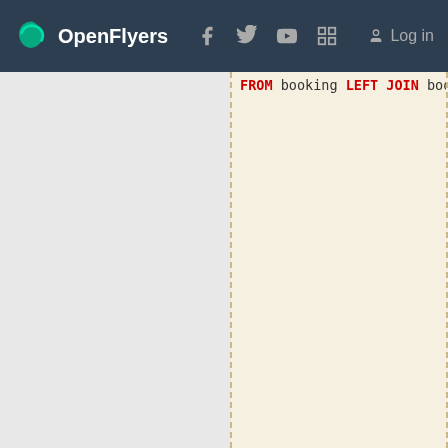OpenFlyers — Log in
[Figure (screenshot): SQL code block showing LEFT JOIN statements with booking, activity_type, booking_resource, resource, log, journal tables and WHERE clause with conditions on activity_type.name, log.action, log.table_name, log.field_name]